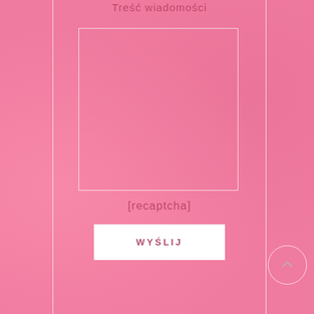Treść wiadomości
[Figure (other): Empty text area input box with white semi-transparent border on pink background]
[recaptcha]
WYŚLIJ
[Figure (other): Circular scroll-to-top button with arrow icon]